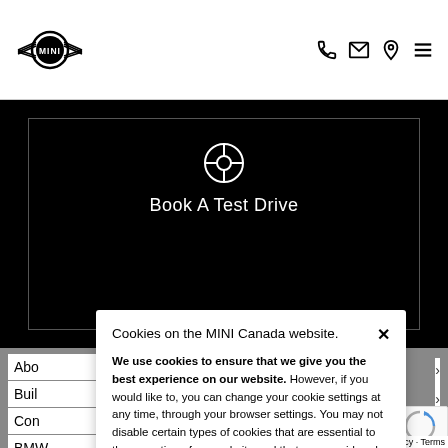[Figure (logo): MINI brand logo with wings and circular emblem]
[Figure (illustration): Header icons: phone, email/envelope, location pin, hamburger menu]
[Figure (illustration): Black hero section with steering wheel icon and 'Book A Test Drive' text inside a bordered box]
Book A Test Drive
Abo
Buil
Con
BMW
Uns
Cookies on the MINI Canada website.
We use cookies to ensure that we give you the best experience on our website. However, if you would like to, you can change your cookie settings at any time, through your browser settings. You may not disable certain types of cookies that are essential to the operation of our website and that are considered strictly necessary cookies. For example, we use strictly necessary cookies to provide you with regional pricing information. You can find detailed information about how cookies are used on this website by clicking here.